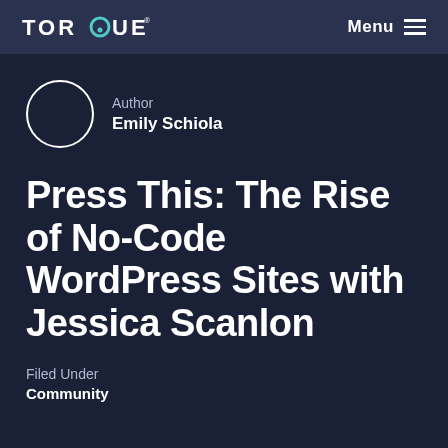TORQUE  Menu
Author
Emily Schiola
Press This: The Rise of No-Code WordPress Sites with Jessica Scanlon
Filed Under
Community